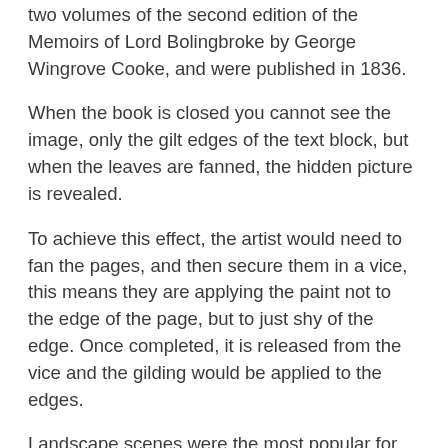two volumes of the second edition of the Memoirs of Lord Bolingbroke by George Wingrove Cooke, and were published in 1836.
When the book is closed you cannot see the image, only the gilt edges of the text block, but when the leaves are fanned, the hidden picture is revealed.
To achieve this effect, the artist would need to fan the pages, and then secure them in a vice, this means they are applying the paint not to the edge of the page, but to just shy of the edge. Once completed, it is released from the vice and the gilding would be applied to the edges.
Landscape scenes were the most popular for this technique, and the ones on our books show Conway Castle and Caernarfon Castle.
Very often the motivation for a fore-edge painting was a demonstration of artistic skill, so it didn't always follow that